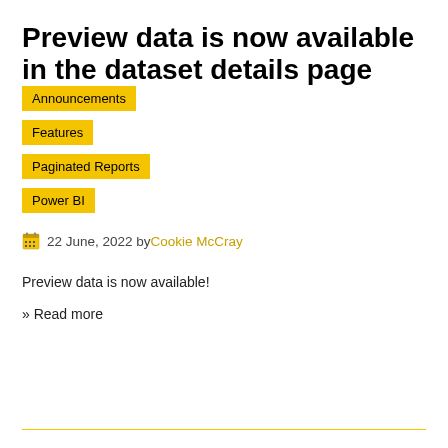Preview data is now available in the dataset details page
Announcements
Features
Paginated Reports
Power BI
22 June, 2022 by Cookie McCray
Preview data is now available!
» Read more